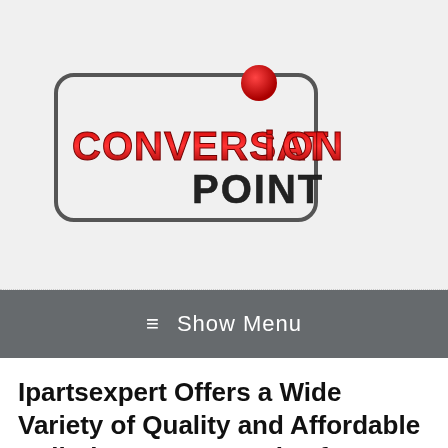[Figure (logo): Conversation Point logo — rounded rectangle border with red gradient 3D text reading CONVERSATION and POINT below in dark grey bold, red speech bubble dot above the i in CONVERSATION]
≡ Show Menu
Ipartsexpert Offers a Wide Variety of Quality and Affordable Cell Phone Accessories for Samsung Galaxy Series